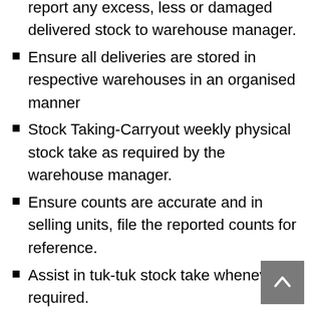receive products against delivery note, report any excess, less or damaged delivered stock to warehouse manager.
Ensure all deliveries are stored in respective warehouses in an organised manner
Stock Taking-Carryout weekly physical stock take as required by the warehouse manager.
Ensure counts are accurate and in selling units, file the reported counts for reference.
Assist in tuk-tuk stock take whenever required.
Help in data entry, attention to detail,